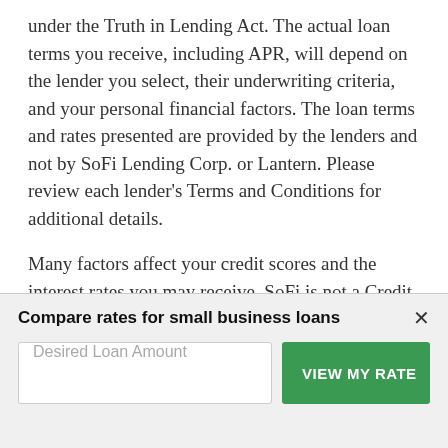under the Truth in Lending Act. The actual loan terms you receive, including APR, will depend on the lender you select, their underwriting criteria, and your personal financial factors. The loan terms and rates presented are provided by the lenders and not by SoFi Lending Corp. or Lantern. Please review each lender's Terms and Conditions for additional details.

Many factors affect your credit scores and the interest rates you may receive. SoFi is not a Credit Repair Organization as defined under federal or state law, including the Credit Repair Organizations Act. SoFi does not provide "credit repair" services or
Compare rates for small business loans
Desired Loan Amount
VIEW MY RATE